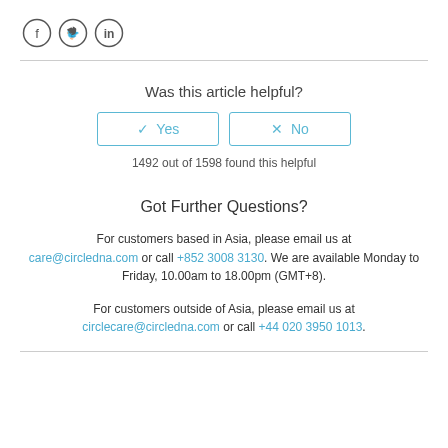[Figure (other): Three social media icons: Facebook, Twitter, LinkedIn in circle outlines]
Was this article helpful?
✓ Yes | × No (buttons)
1492 out of 1598 found this helpful
Got Further Questions?
For customers based in Asia, please email us at care@circledna.com or call +852 3008 3130. We are available Monday to Friday, 10.00am to 18.00pm (GMT+8).
For customers outside of Asia, please email us at circlecare@circledna.com or call +44 020 3950 1013.